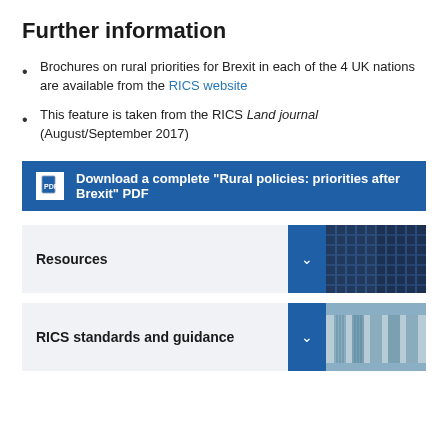Further information
Brochures on rural priorities for Brexit in each of the 4 UK nations are available from the RICS website
This feature is taken from the RICS Land journal (August/September 2017)
Download a complete “Rural policies: priorities after Brexit” PDF
Resources
RICS standards and guidance